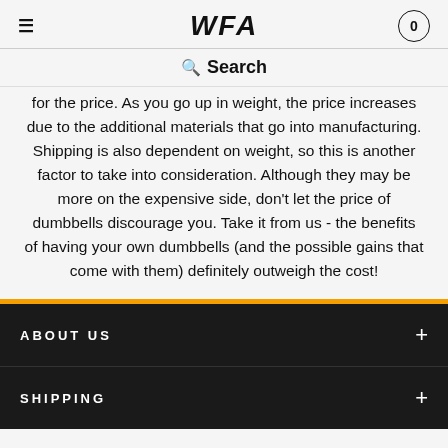WFA  0
Search
for the price. As you go up in weight, the price increases due to the additional materials that go into manufacturing. Shipping is also dependent on weight, so this is another factor to take into consideration. Although they may be more on the expensive side, don't let the price of dumbbells discourage you. Take it from us - the benefits of having your own dumbbells (and the possible gains that come with them) definitely outweigh the cost!
ABOUT US
SHIPPING